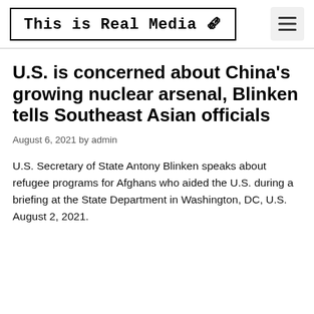This is Real Media 🗞
U.S. is concerned about China's growing nuclear arsenal, Blinken tells Southeast Asian officials
August 6, 2021 by admin
U.S. Secretary of State Antony Blinken speaks about refugee programs for Afghans who aided the U.S. during a briefing at the State Department in Washington, DC, U.S. August 2, 2021.